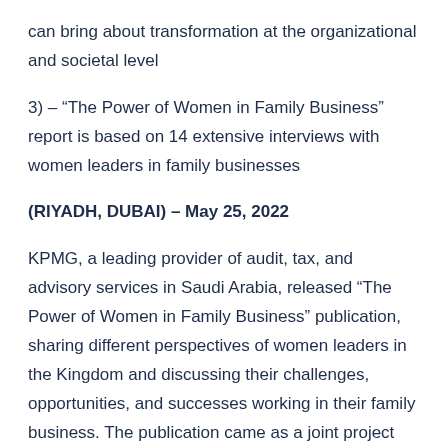can bring about transformation at the organizational and societal level
3) – “The Power of Women in Family Business” report is based on 14 extensive interviews with women leaders in family businesses
(RIYADH, DUBAI) – May 25, 2022
KPMG, a leading provider of audit, tax, and advisory services in Saudi Arabia, released “The Power of Women in Family Business” publication, sharing different perspectives of women leaders in the Kingdom and discussing their challenges, opportunities, and successes working in their family business. The publication came as a joint project